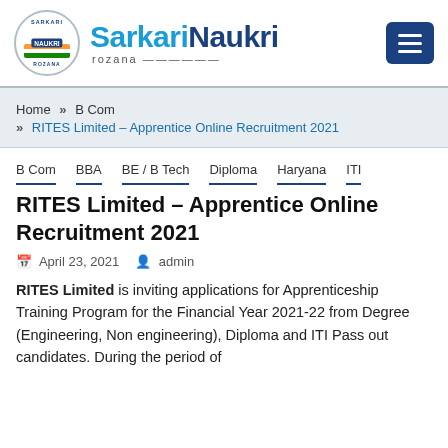[Figure (logo): Sarkari Naukri Rozana logo with circular emblem featuring Indian tricolor and brand name]
Home » B Com » RITES Limited – Apprentice Online Recruitment 2021
B Com
BBA
BE / B Tech
Diploma
Haryana
ITI
RITES Limited – Apprentice Online Recruitment 2021
April 23, 2021   admin
RITES Limited is inviting applications for Apprenticeship Training Program for the Financial Year 2021-22 from Degree (Engineering, Non engineering), Diploma and ITI Pass out candidates. During the period of